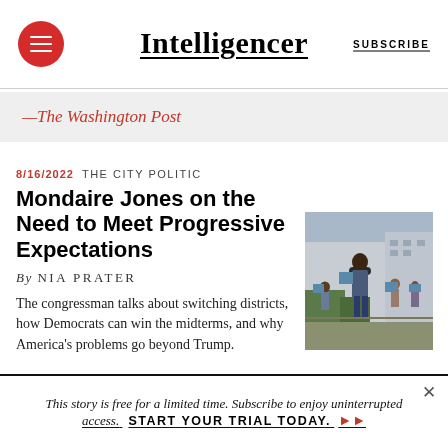Intelligencer | SUBSCRIBE
—The Washington Post
8/16/2022  THE CITY POLITIC
Mondaire Jones on the Need to Meet Progressive Expectations
By NIA PRATER
The congressman talks about switching districts, how Democrats can win the midterms, and why America's problems go beyond Trump.
[Figure (photo): Photo of Mondaire Jones standing outdoors holding a sign, with people holding blue signs visible in the background]
This story is free for a limited time. Subscribe to enjoy uninterrupted access.  START YOUR TRIAL TODAY. ▶▶